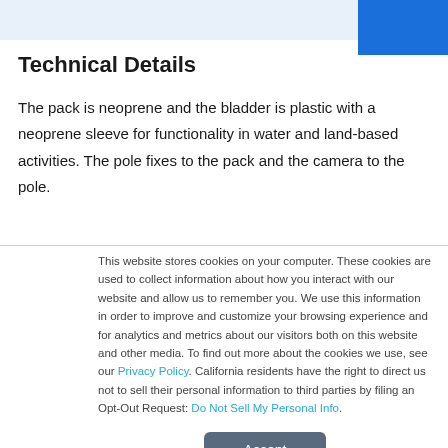Technical Details
The pack is neoprene and the bladder is plastic with a neoprene sleeve for functionality in water and land-based activities. The pole fixes to the pack and the camera to the pole.
This website stores cookies on your computer. These cookies are used to collect information about how you interact with our website and allow us to remember you. We use this information in order to improve and customize your browsing experience and for analytics and metrics about our visitors both on this website and other media. To find out more about the cookies we use, see our Privacy Policy. California residents have the right to direct us not to sell their personal information to third parties by filing an Opt-Out Request: Do Not Sell My Personal Info.
Accept